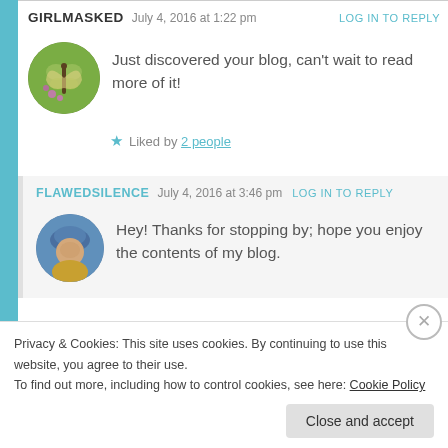GIRLMASKED   July 4, 2016 at 1:22 pm   LOG IN TO REPLY
Just discovered your blog, can't wait to read more of it!
★ Liked by 2 people
FLAWEDSILENCE   July 4, 2016 at 3:46 pm   LOG IN TO REPLY
Hey! Thanks for stopping by; hope you enjoy the contents of my blog.
Privacy & Cookies: This site uses cookies. By continuing to use this website, you agree to their use.
To find out more, including how to control cookies, see here: Cookie Policy
Close and accept